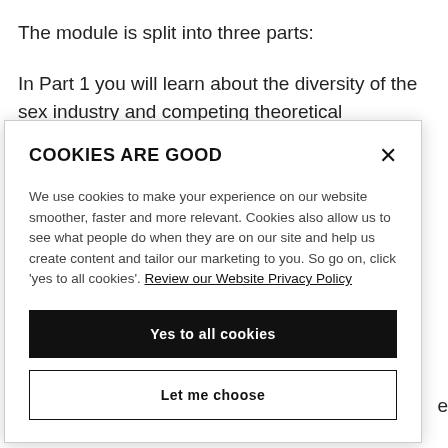The module is split into three parts:
In Part 1 you will learn about the diversity of the sex industry and competing theoretical perspectives
COOKIES ARE GOOD (modal dialog) — We use cookies to make your experience on our website smoother, faster and more relevant. Cookies also allow us to see what people do when they are on our site and help us create content and tailor our marketing to you. So go on, click 'yes to all cookies'. Review our Website Privacy Policy. [Yes to all cookies] [Let me choose]
regulatory frameworks.